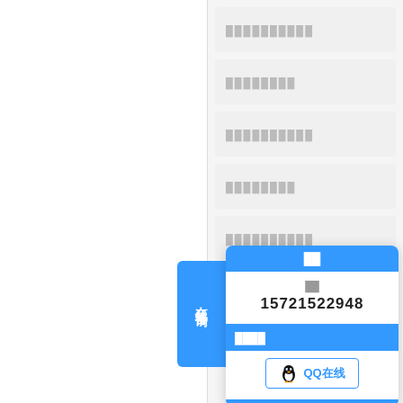██████████
████████
██████████
████████
██████████
████████████
██████████
[Figure (screenshot): Online consultation popup widget with phone number 15721522948 and QQ online button. Blue header sections labelled with Chinese characters, white body with contact info.]